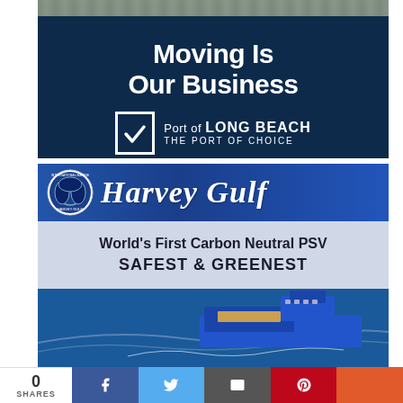[Figure (advertisement): Port of Long Beach advertisement with dark navy background. Large white bold text reads 'Moving Is Our Business'. Below is the Port of Long Beach logo with a checkmark in a box and text 'Port of LONG BEACH — THE PORT OF CHOICE'. Top portion shows an aerial photo of a port.]
[Figure (advertisement): Harvey Gulf International Marine advertisement. Blue header band with circular logo and cursive 'Harvey Gulf' text. Light blue/grey bar with text 'World's First Carbon Neutral PSV' and 'SAFEST & GREENEST'. Bottom portion shows a photo of a blue offshore supply vessel at sea.]
0 SHARES